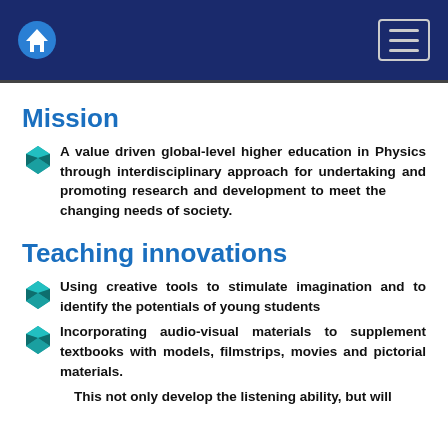Navigation bar with home icon and menu button
Mission
A value driven global-level higher education in Physics through interdisciplinary approach for undertaking and promoting research and development to meet the changing needs of society.
Teaching innovations
Using creative tools to stimulate imagination and to identify the potentials of young students
Incorporating audio-visual materials to supplement textbooks with models, filmstrips, movies and pictorial materials.
This not only develop the listening ability, but will